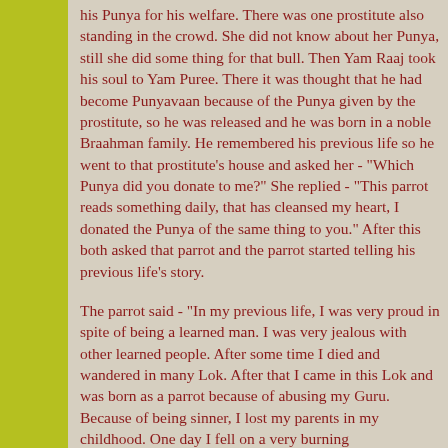his Punya for his welfare. There was one prostitute also standing in the crowd. She did not know about her Punya, still she did some thing for that bull. Then Yam Raaj took his soul to Yam Puree. There it was thought that he had become Punyavaan because of the Punya given by the prostitute, so he was released and he was born in a noble Braahman family. He remembered his previous life so he went to that prostitute's house and asked her - "Which Punya did you donate to me?" She replied - "This parrot reads something daily, that has cleansed my heart, I donated the Punya of the same thing to you." After this both asked that parrot and the parrot started telling his previous life's story.
The parrot said - "In my previous life, I was very proud in spite of being a learned man. I was very jealous with other learned people. After some time I died and wandered in many Lok. After that I came in this Lok and was born as a parrot because of abusing my Guru. Because of being sinner, I lost my parents in my childhood. One day I fell on a very burning